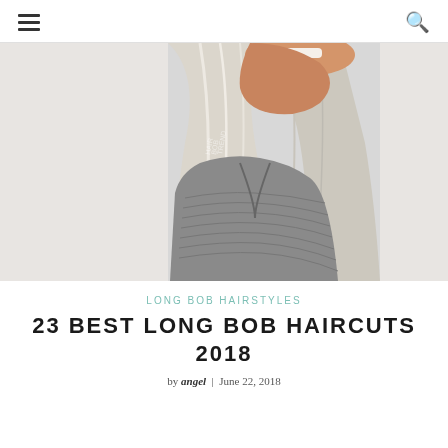☰  🔍
[Figure (photo): Woman with long straight platinum blonde hair wearing a grey knit sweater, shown from the back/side, smiling]
LONG BOB HAIRSTYLES
23 BEST LONG BOB HAIRCUTS 2018
by angel  |  June 22, 2018